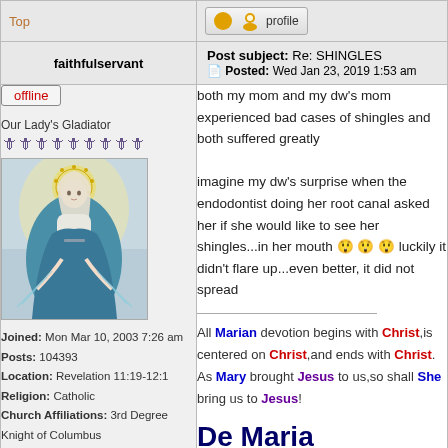Top
[Figure (other): Profile button with user icon]
faithfulservant
Post subject: Re: SHINGLES
Posted: Wed Jan 23, 2019 1:53 am
offline
Our Lady's Gladiator
[Figure (photo): Avatar image of Our Lady of Grace (Virgin Mary with blue robes and halo)]
Joined: Mon Mar 10, 2003 7:26 am
Posts: 104393
Location: Revelation 11:19-12:1
Religion: Catholic
Church Affiliations: 3rd Degree Knight of Columbus
both my mom and my dw's mom experienced bad cases of shingles and both suffered greatly

imagine my dw's surprise when the endodontist doing her root canal asked her if she would like to see her shingles...in her mouth 😲😲😲 luckily it didn't flare up...even better, it did not spread
All Marian devotion begins with Christ,is centered on Christ,and ends with Christ.
As Mary brought Jesus to us,so shall She bring us to Jesus!
De Maria numquam satis